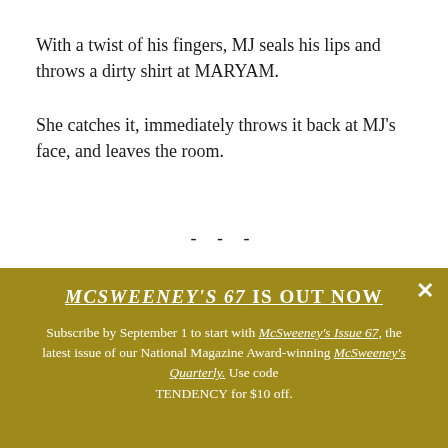With a twist of his fingers, MJ seals his lips and throws a dirty shirt at MARYAM.
She catches it, immediately throws it back at MJ's face, and leaves the room.
- - -
MCSWEENEY'S 67 IS OUT NOW
Subscribe by September 1 to start with McSweeney's Issue 67, the latest issue of our National Magazine Award-winning McSweeney's Quarterly. Use code TENDENCY for $10 off.